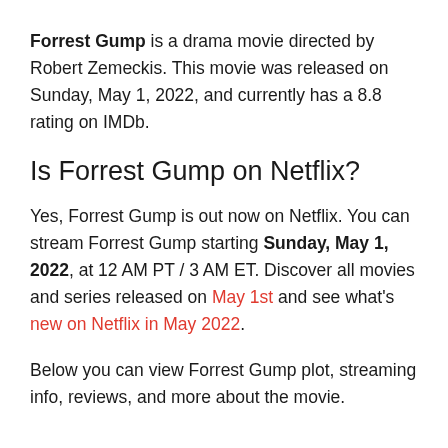Forrest Gump is a drama movie directed by Robert Zemeckis. This movie was released on Sunday, May 1, 2022, and currently has a 8.8 rating on IMDb.
Is Forrest Gump on Netflix?
Yes, Forrest Gump is out now on Netflix. You can stream Forrest Gump starting Sunday, May 1, 2022, at 12 AM PT / 3 AM ET. Discover all movies and series released on May 1st and see what's new on Netflix in May 2022.
Below you can view Forrest Gump plot, streaming info, reviews, and more about the movie.